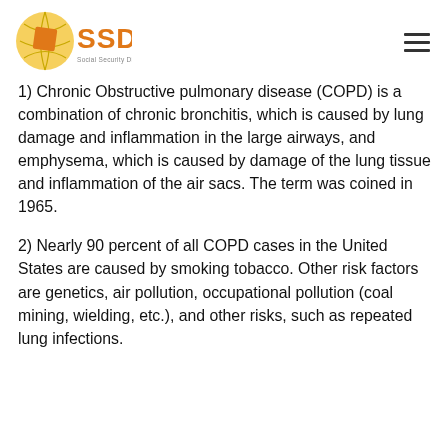SSDRC Social Security Disability Resource Center
1) Chronic Obstructive pulmonary disease (COPD) is a combination of chronic bronchitis, which is caused by lung damage and inflammation in the large airways, and emphysema, which is caused by damage of the lung tissue and inflammation of the air sacs. The term was coined in 1965.
2) Nearly 90 percent of all COPD cases in the United States are caused by smoking tobacco. Other risk factors are genetics, air pollution, occupational pollution (coal mining, wielding, etc.), and other risks, such as repeated lung infections.